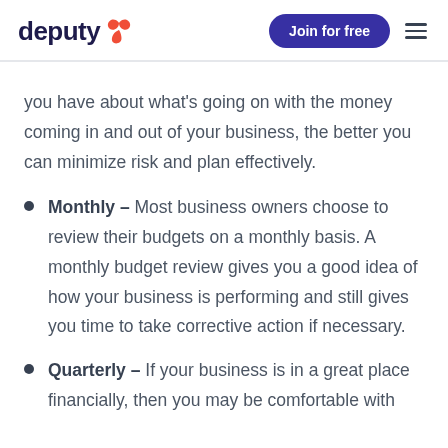deputy [logo] | Join for free | [menu]
you have about what's going on with the money coming in and out of your business, the better you can minimize risk and plan effectively.
Monthly – Most business owners choose to review their budgets on a monthly basis. A monthly budget review gives you a good idea of how your business is performing and still gives you time to take corrective action if necessary.
Quarterly – If your business is in a great place financially, then you may be comfortable with